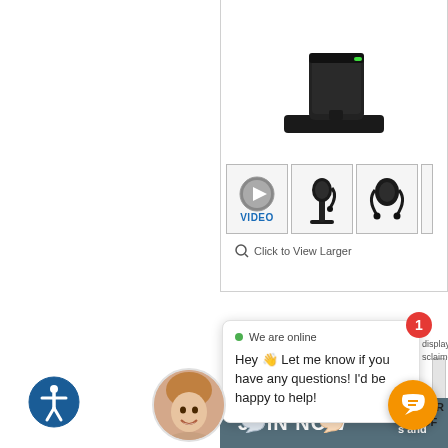[Figure (screenshot): Product image area showing a headset docking station partially visible at top, with thumbnail images below including a video thumbnail, headset on stand, and headset without stand. A 'Click to View Larger' magnifier link is shown.]
[Figure (screenshot): Live chat popup widget showing a green online indicator, an agent avatar photo, and the message: Hey 👋 Let me know if you have any questions! I'd be happy to help! With a red notification badge showing '1'.]
[Figure (screenshot): Bottom bar with a JOIN NOW button in slate blue, an orange chat icon button, and an accessibility icon in the lower left corner.]